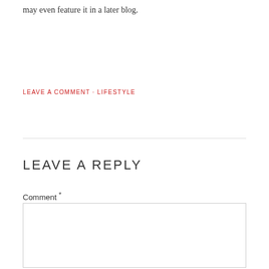may even feature it in a later blog.
LEAVE A COMMENT · LIFESTYLE
LEAVE A REPLY
Comment *